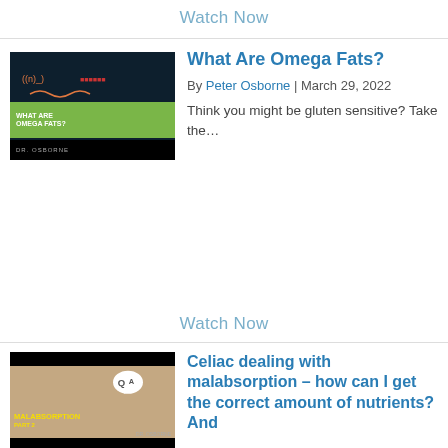Watch Now
[Figure (screenshot): Thumbnail for 'What Are Omega Fats?' video by Dr. Osborne — dark teal background with green banner and white text]
What Are Omega Fats?
By Peter Osborne | March 29, 2022
Think you might be gluten sensitive? Take the…
Watch Now
[Figure (screenshot): Thumbnail for 'Malabsorption Part 2' Q&A video by Dr. Osborne — man in blue shirt with Q&A speech bubble and yellow text]
Celiac dealing with malabsorption – how can I get the correct amount of nutrients? And